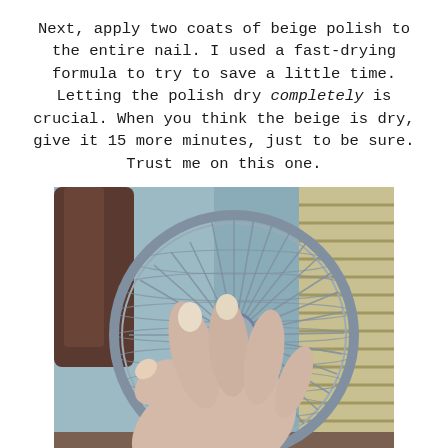Next, apply two coats of beige polish to the entire nail. I used a fast-drying formula to try to save a little time. Letting the polish dry completely is crucial. When you think the beige is dry, give it 15 more minutes, just to be sure. Trust me on this one.
[Figure (photo): A hand with beige-painted nails held up in front of a small circular desk fan, with a window with blinds visible in the background.]